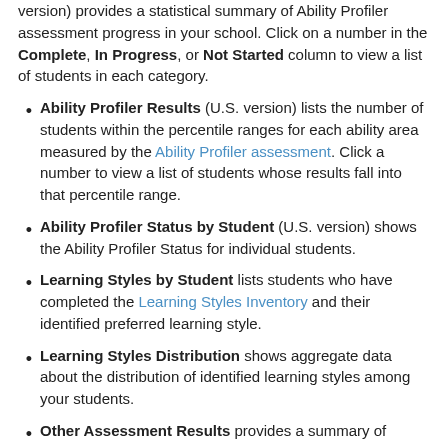version) provides a statistical summary of Ability Profiler assessment progress in your school. Click on a number in the Complete, In Progress, or Not Started column to view a list of students in each category.
Ability Profiler Results (U.S. version) lists the number of students within the percentile ranges for each ability area measured by the Ability Profiler assessment. Click a number to view a list of students whose results fall into that percentile range.
Ability Profiler Status by Student (U.S. version) shows the Ability Profiler Status for individual students.
Learning Styles by Student lists students who have completed the Learning Styles Inventory and their identified preferred learning style.
Learning Styles Distribution shows aggregate data about the distribution of identified learning styles among your students.
Other Assessment Results provides a summary of